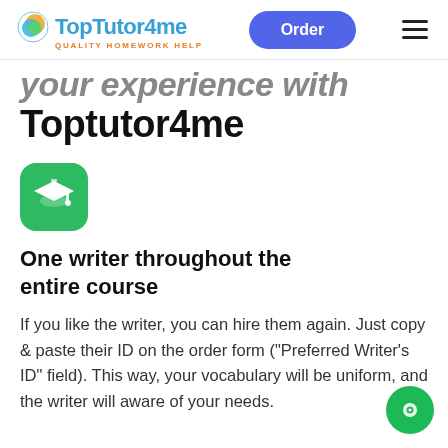TopTutor4me — QUALITY HOMEWORK HELP | Order | menu
your experience with Toptutor4me
[Figure (logo): Green rounded square icon with white graduation cap symbol]
One writer throughout the entire course
If you like the writer, you can hire them again. Just copy & paste their ID on the order form ("Preferred Writer's ID" field). This way, your vocabulary will be uniform, and the writer will aware of your needs.